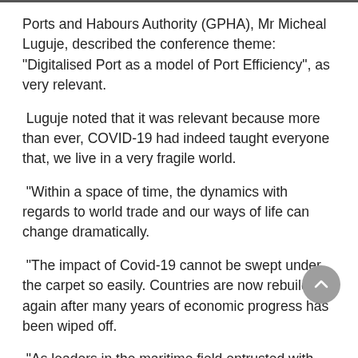Ports and Habours Authority (GPHA), Mr Micheal Luguje, described the conference theme: “Digitalised Port as a model of Port Efficiency”, as very relevant.
Luguje noted that it was relevant because more than ever, COVID-19 had indeed taught everyone that, we live in a very fragile world.
“Within a space of time, the dynamics with regards to world trade and our ways of life can change dramatically.
“The impact of Covid-19 cannot be swept under the carpet so easily. Countries are now rebuilding again after many years of economic progress has been wiped off.
“As leaders in the maritime field entrusted with the responsibilities of facilitating trade and economic progress for our respective countries, we are here to have serious